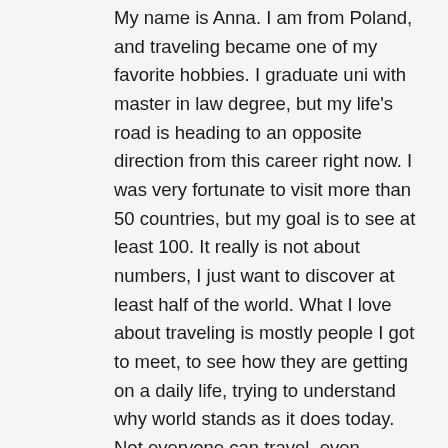My name is Anna. I am from Poland, and traveling became one of my favorite hobbies. I graduate uni with master in law degree, but my life's road is heading to an opposite direction from this career right now. I was very fortunate to visit more than 50 countries, but my goal is to see at least 100. It really is not about numbers, I just want to discover at least half of the world. What I love about traveling is mostly people I got to meet, to see how they are getting on a daily life, trying to understand why world stands as it does today. Not everyone can travel, even domestically, that's why I am glad more and more people are taking their chances to do so, to understand and see that as much as we are all the same, not everyone is lucky to have what we do. I think understanding is a first step and hopefully not last.